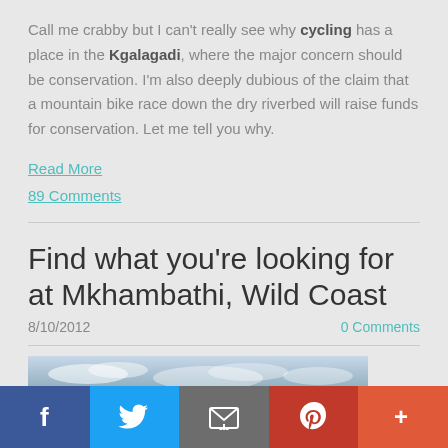Call me crabby but I can't really see why cycling has a place in the Kgalagadi, where the major concern should be conservation. I'm also deeply dubious of the claim that a mountain bike race down the dry riverbed will raise funds for conservation. Let me tell you why.
Read More
89 Comments
Find what you're looking for at Mkhambathi, Wild Coast
8/10/2012
0 Comments
[Figure (photo): Landscape photo showing sky with clouds, partially visible, cropped at bottom]
Social sharing bar: Facebook, Twitter, Email, Pinterest, More